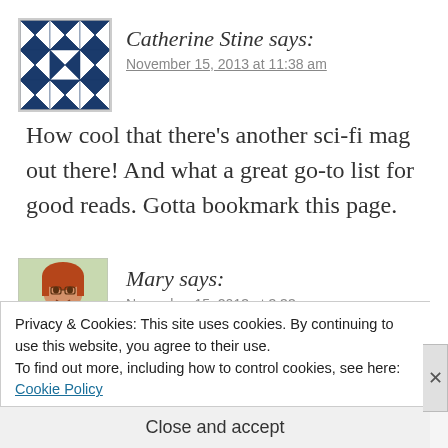Catherine Stine says:
November 15, 2013 at 11:38 am
How cool that there’s another sci-fi mag out there! And what a great go-to list for good reads. Gotta bookmark this page.
Mary says:
November 15, 2013 at 3:33 pm
Privacy & Cookies: This site uses cookies. By continuing to use this website, you agree to their use.
To find out more, including how to control cookies, see here: Cookie Policy
Close and accept